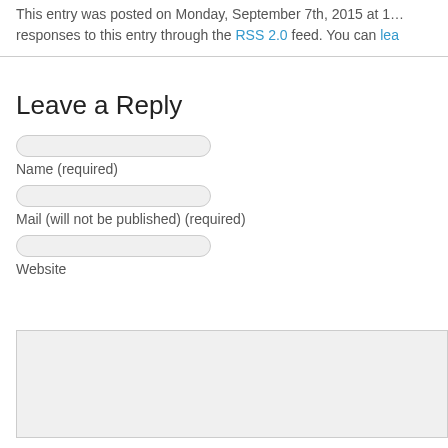This entry was posted on Monday, September 7th, 2015 at 1… responses to this entry through the RSS 2.0 feed. You can lea…
Leave a Reply
Name (required)
Mail (will not be published) (required)
Website